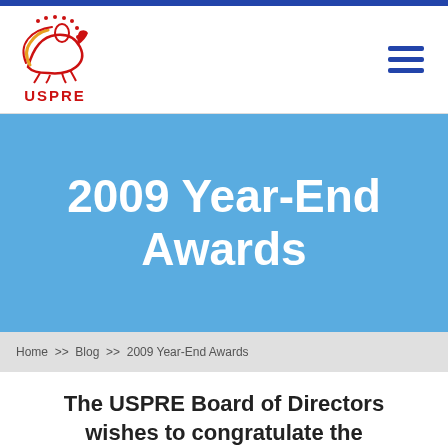[Figure (logo): USPRE logo featuring a stylized horse and rider with stars, red and yellow colors, above the text USPRE in red bold letters]
2009 Year-End Awards
Home >> Blog >> 2009 Year-End Awards
The USPRE Board of Directors wishes to congratulate the